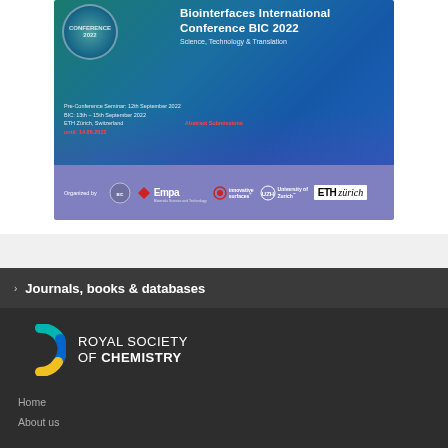[Figure (illustration): Biointerfaces International Conference BIC 2022 promotional banner. Shows conference title, subtitle 'Science, Technology & Translation', dates (Pre-Conference Seminar: 12th September 2022, BIC: 13th – 15th September 2022, ETH Zürich, Switzerland), red text with registration link, and organizer logos: Empa, Innovative Surfaces, University of Zurich, ETH Zürich. Background is blue/teal with bokeh circles.]
› Journals, books & databases
[Figure (logo): Royal Society of Chemistry logo — colorful C-shaped arc (teal, blue, yellow, white segments) with text 'ROYAL SOCIETY OF CHEMISTRY' in white on dark background.]
Home
About us